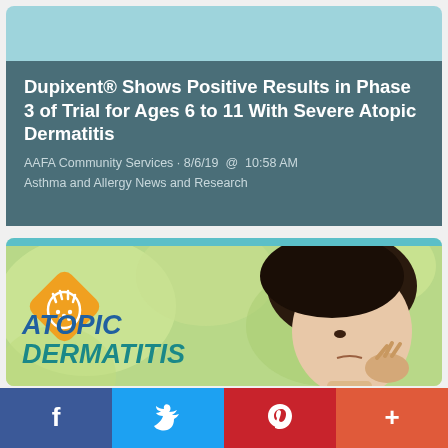Dupixent® Shows Positive Results in Phase 3 of Trial for Ages 6 to 11 With Severe Atopic Dermatitis
AAFA Community Services · 8/6/19  @  10:58 AM
Asthma and Allergy News and Research
[Figure (photo): Image of a young Asian girl scratching her neck, overlaid with an orange diamond-shaped icon showing a hand with dots (representing a skin rash) and the text ATOPIC DERMATITIS in bold teal/blue letters]
Facebook  Twitter  Pinterest  +